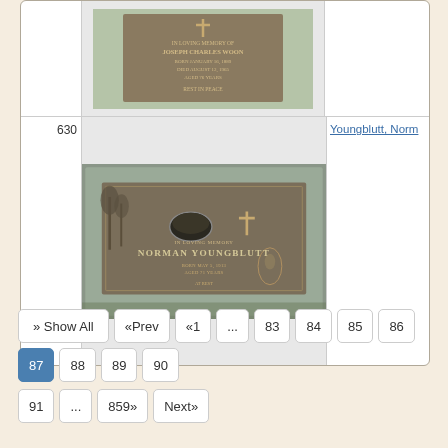[Figure (photo): Partial view of a grave marker/plaque for Joseph Charles Woon, bronze plaque on stone base, visible bottom portion]
[Figure (photo): Grave marker for Norman Youngblutt, bronze plaque on granite/stone base reading IN LOVING MEMORY NORMAN YOUNGBLUTT, BORN MAY 5 1913, AGED 71 YEARS, AT REST. Row number 630.]
Youngblutt, Norm
» Show All
«Prev
«1
...
83
84
85
86
87
88
89
90
91
...
859»
Next»